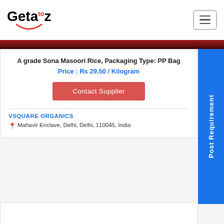Geta to z
[Figure (photo): Red/dark banner strip image at top of product listing]
A grade Sona Masoori Rice, Packaging Type: PP Bag
Price : Rs 29.50 / Kilogram
Contact Supplier
VSQUARE ORGANICS
Mahavir Enclave, Delhi, Delhi, 110045, India
Post Requirement